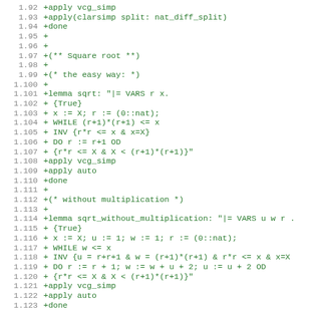Code listing lines 1.92–1.123 showing Isabelle/HOL proof script for square root algorithms
1.92  +apply vcg_simp
1.93  +apply(clarsimp split: nat_diff_split)
1.94  +done
1.95  +
1.96  +
1.97  +(** Square root **)
1.98  +
1.99  +(* the easy way: *)
1.100 +
1.101 +lemma sqrt: "|= VARS r x.
1.102 + {True}
1.103 + x := X; r := (0::nat);
1.104 + WHILE (r+1)*(r+1) <= x
1.105 + INV {r*r <= x & x=X}
1.106 + DO r := r+1 OD
1.107 + {r*r <= X & X < (r+1)*(r+1)}"
1.108 +apply vcg_simp
1.109 +apply auto
1.110 +done
1.111 +
1.112 +(* without multiplication *)
1.113 +
1.114 +lemma sqrt_without_multiplication: "|= VARS u w r .
1.115 + {True}
1.116 + x := X; u := 1; w := 1; r := (0::nat);
1.117 + WHILE w <= x
1.118 + INV {u = r+r+1 & w = (r+1)*(r+1) & r*r <= x & x=X
1.119 + DO r := r + 1; w := w + u + 2; u := u + 2 OD
1.120 + {r*r <= X & X < (r+1)*(r+1)}"
1.121 +apply vcg_simp
1.122 +apply auto
1.123 +done